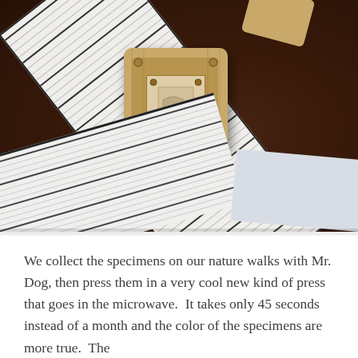[Figure (photo): Overhead view of a wooden flower press sitting on a dark brown felt or suede surface. To the left is a striped notebook or paper at an angle. In the bottom left is another piece of striped paper. In the top right corner is a small piece of wood. Bottom right has a light blue/grey paper. The press is a square wooden block with visible screws/bolts.]
We collect the specimens on our nature walks with Mr. Dog, then press them in a very cool new kind of press that goes in the microwave.  It takes only 45 seconds instead of a month and the color of the specimens are more true.  The